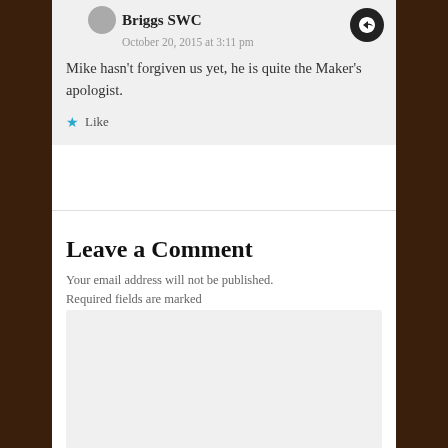Briggs SWC
October 20, 2015 at 3:11 pm
Mike hasn't forgiven us yet, he is quite the Maker's apologist.
Like
Leave a Comment
Your email address will not be published. Required fields are marked